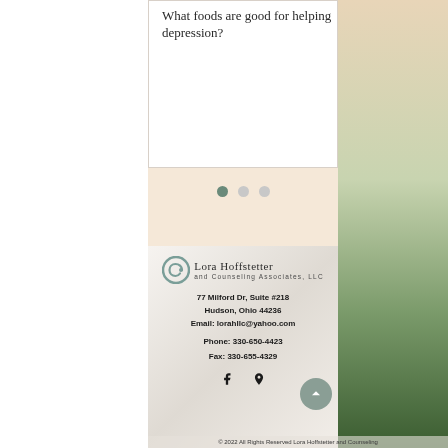What foods are good for helping depression?
[Figure (other): Three pagination dots, first filled dark, second and third gray]
[Figure (logo): Lora Hoffstetter and Counseling Associates, LLC logo with spiral C icon]
77 Milford Dr, Suite #218
Hudson, Ohio 44236
Email: lorahllc@yahoo.com
Phone: 330-650-4423
Fax: 330-655-4329
[Figure (other): Facebook and location pin social media icons]
© 2022 All Rights Reserved Lora Hoffstetter and Counseling